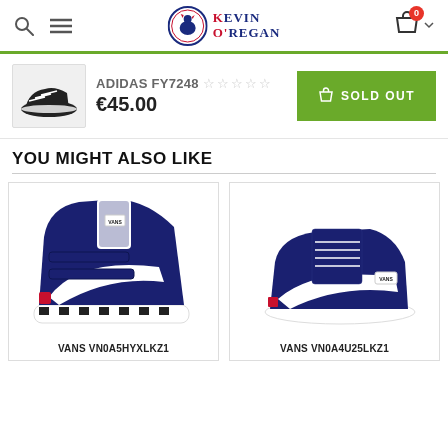Kevin O'Regan - Navigation header with search, menu, logo, cart
[Figure (photo): Adidas FY7248 black sneaker thumbnail]
ADIDAS FY7248 ☆☆☆☆☆
€45.00
SOLD OUT
YOU MIGHT ALSO LIKE
[Figure (photo): Vans VN0A5HYXLKZ1 - navy blue high top sneaker with velcro straps and checkerboard sole]
VANS VN0A5HYXLKZ1
[Figure (photo): Vans VN0A4U25LKZ1 - navy blue low top sneaker with laces]
VANS VN0A4U25LKZ1